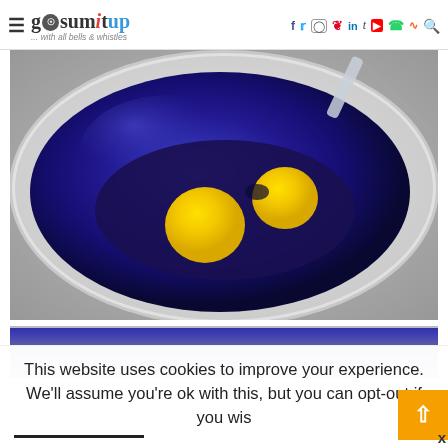≡ gosumitup ... with all bells & whistles — social icons: facebook, twitter, instagram, pinterest, linkedin, tumblr, youtube, whatsapp, rss, search
[Figure (photo): A blue ceramic bowl viewed from above containing two raw egg yolks on a granite or stone countertop surface, with a partial second photo cropped at the bottom showing the same bowl.]
This website uses cookies to improve your experience. We'll assume you're ok with this, but you can opt-out if you wis
x